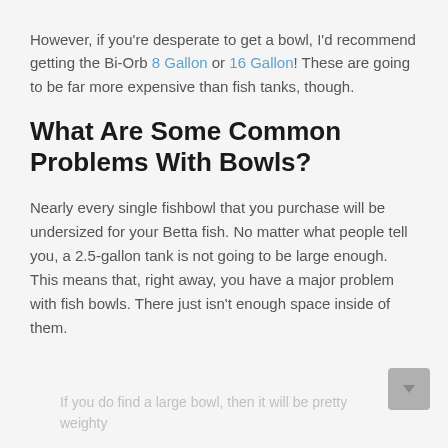However, if you're desperate to get a bowl, I'd recommend getting the Bi-Orb 8 Gallon or 16 Gallon! These are going to be far more expensive than fish tanks, though.
What Are Some Common Problems With Bowls?
Nearly every single fishbowl that you purchase will be undersized for your Betta fish. No matter what people tell you, a 2.5-gallon tank is not going to be large enough. This means that, right away, you have a major problem with fish bowls. There just isn't enough space inside of them.
If you do find a large bowl, then it will be pretty weighty